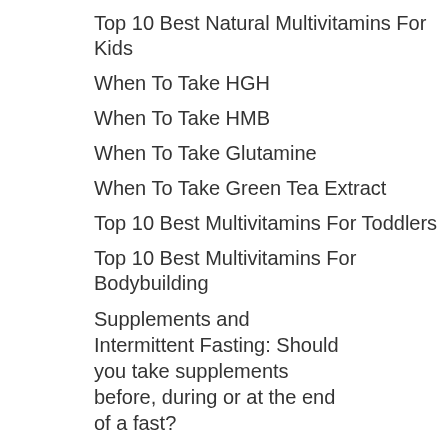Top 10 Best Natural Multivitamins For Kids
When To Take HGH
When To Take HMB
When To Take Glutamine
When To Take Green Tea Extract
Top 10 Best Multivitamins For Toddlers
Top 10 Best Multivitamins For Bodybuilding
Supplements and Intermittent Fasting: Should you take supplements before, during or at the end of a fast?
Top 10 Best Multivitamins For Men Working Out
When To Take Flomax
When To Take Fish Oil
When To Take Folic Acid
When To Take Fat Burners
Guide To Supplement Timing For Bodybuilding